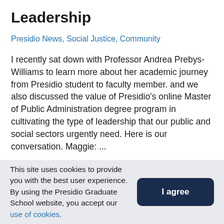Leadership
Presidio News, Social Justice, Community
I recently sat down with Professor Andrea Prebys-Williams to learn more about her academic journey from Presidio student to faculty member. and we also discussed the value of Presidio's online Master of Public Administration degree program in cultivating the type of leadership that our public and social sectors urgently need. Here is our conversation. Maggie: ...
Read more >
This site uses cookies to provide you with the best user experience. By using the Presidio Graduate School website, you accept our use of cookies.